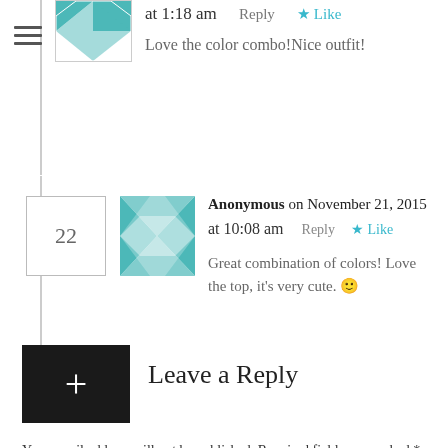[Figure (screenshot): Partial top comment showing avatar (teal quilt pattern), timestamp 'at 1:18 am', Reply link, Like button, and comment text 'Love the color combo!Nice outfit!']
at 1:18 am    Reply    ★ Like
Love the color combo!Nice outfit!
22
Anonymous on November 21, 2015 at 10:08 am    Reply    ★ Like
Great combination of colors! Love the top, it's very cute. 🙂
Leave a Reply
Your email address will not be published. Required fields are marked *
Comment *